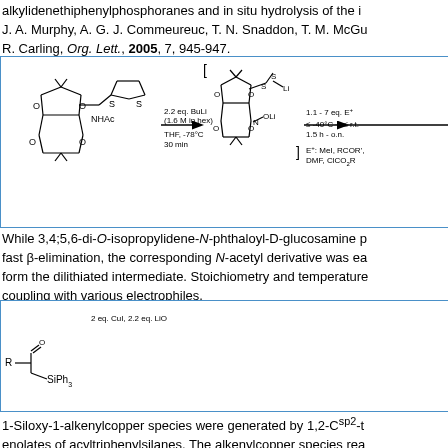alkylidenethiphenylphosphoranes and in situ hydrolysis of the i… J. A. Murphy, A. G. J. Commeureuc, T. N. Snaddon, T. M. McGu… R. Carling, Org. Lett., 2005, 7, 945-947.
[Figure (schematic): Chemical reaction scheme showing dilithiation of a dithiane-sugar substrate with 2.2 eq. BuLi (1.6 M in hex), THF, -78°C, 30 min to form dilithiated intermediate, then reaction with 1.1-7 eq. E+ at ≤-40°C → ≤r.t., 1.5h-o.n. E+: MeI, RCOR', DMF, ClCO2R]
While 3,4;5,6-di-O-isopropylidene-N-phthaloyl-D-glucosamine p… fast β-elimination, the corresponding N-acetyl derivative was ea… form the dilithiated intermediate. Stoichiometry and temperature… coupling with various electrophiles. Y.-L. Chen, R. Leguijt, H. Redlich, R. Fröhlich, Synthesis, 2006,
[Figure (schematic): Chemical reaction scheme: acyltriphenylsilane R-C(=O)-SiPh3 reacts with 2 eq. CuI, 2.2 eq. LiOtBu in DMF at 25°C 0.5h then CuOtBu in DMF 25°C 0.5h to give copper enolate intermediate [R-CH=C(OSiPh3)-Cu], then 2 eq. R-X, 0.5h to give product R-CH=C(O)...]
1-Siloxy-1-alkenylcopper species were generated by 1,2-Csp2-t… enolates of acyltriphenylsilanes. The alkenylcopper species rea… tributylstannyl halides and in the presence of Pd(0) catalyst with… geometrically pure (Z)-enol silyl ethers.